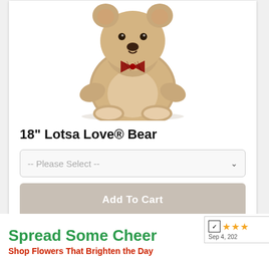[Figure (photo): Stuffed teddy bear with checkered bow tie, tan/beige color, seated position, shown from front]
18" Lotsa Love® Bear
-- Please Select --
Add To Cart
Spread Some Cheer
Shop Flowers That Brighten the Day
[Figure (logo): Yahoo shopping rating badge showing 3 stars and date Sep 4, 202...]